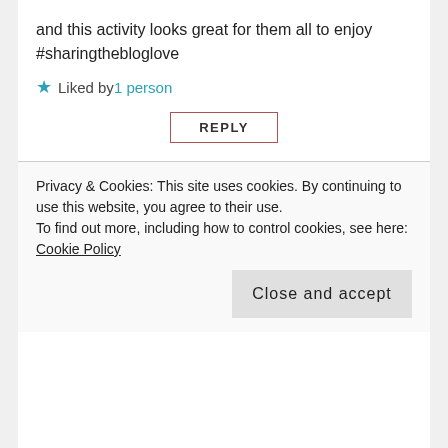and this activity looks great for them all to enjoy #sharingthebloglove
Liked by 1 person
REPLY
cheshiresentutor
January 17, 2018 at 9:15 pm
Thank you so much, would love to hear if you try it and what they think. Thanks for such a lovely comment.
Privacy & Cookies: This site uses cookies. By continuing to use this website, you agree to their use.
To find out more, including how to control cookies, see here: Cookie Policy
Close and accept